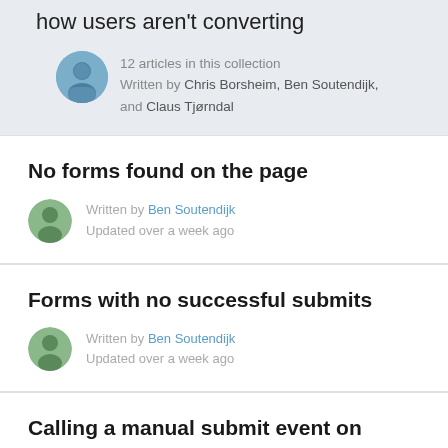How Mouseflow can highlight who and how users aren't converting
12 articles in this collection
Written by Chris Borsheim, Ben Soutendijk, and Claus Tjørndal
No forms found on the page
Written by Ben Soutendijk
Updated over a week ago
Forms with no successful submits
Written by Ben Soutendijk
Updated over a week ago
Calling a manual submit event on